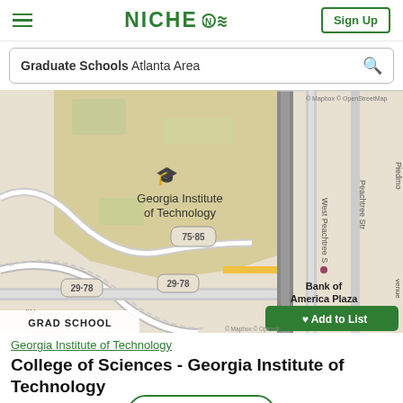NICHE — Sign Up
Graduate Schools Atlanta Area
[Figure (map): Street map showing Georgia Institute of Technology campus in Atlanta, with roads, route markers 29-78, 75-85, West Peachtree Street, Peachtree Street, and Bank of America Plaza labeled. A graduation cap icon marks Georgia Tech. An 'Add to List' button appears in the bottom-right of the map. A 'GRAD SCHOOL' badge appears bottom-left.]
Georgia Institute of Technology
College of Sciences - Georgia Institute of Technology
Graduate School • A
Install App